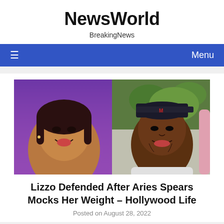NewsWorld
BreakingNews
[Figure (photo): Navigation bar with hamburger menu icon on the left and 'Menu' text on the right, on a blue background]
[Figure (photo): Side-by-side photos: left shows a smiling Black woman in front of a purple background, right shows a smiling Black man wearing a dark baseball cap outdoors with green trees behind him]
Lizzo Defended After Aries Spears Mocks Her Weight – Hollywood Life
Posted on August 28, 2022